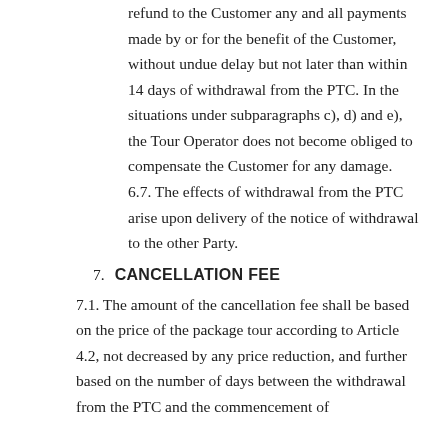refund to the Customer any and all payments made by or for the benefit of the Customer, without undue delay but not later than within 14 days of withdrawal from the PTC. In the situations under subparagraphs c), d) and e), the Tour Operator does not become obliged to compensate the Customer for any damage. 6.7. The effects of withdrawal from the PTC arise upon delivery of the notice of withdrawal to the other Party.
7. CANCELLATION FEE
7.1. The amount of the cancellation fee shall be based on the price of the package tour according to Article 4.2, not decreased by any price reduction, and further based on the number of days between the withdrawal from the PTC and the commencement of